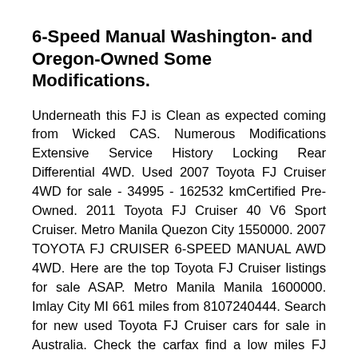6-Speed Manual Washington- and Oregon-Owned Some Modifications.
Underneath this FJ is Clean as expected coming from Wicked CAS. Numerous Modifications Extensive Service History Locking Rear Differential 4WD. Used 2007 Toyota FJ Cruiser 4WD for sale - 34995 - 162532 kmCertified Pre-Owned. 2011 Toyota FJ Cruiser 40 V6 Sport Cruiser. Metro Manila Quezon City 1550000. 2007 TOYOTA FJ CRUISER 6-SPEED MANUAL AWD 4WD. Here are the top Toyota FJ Cruiser listings for sale ASAP. Metro Manila Manila 1600000. Imlay City MI 661 miles from 8107240444. Search for new used Toyota FJ Cruiser cars for sale in Australia. Check the carfax find a low miles FJ Cruiser view FJ Cruiser photos and interiorexterior features. WHAT MAKES IT RARE IS THAT IT IS EXTEREMELY Used 2010